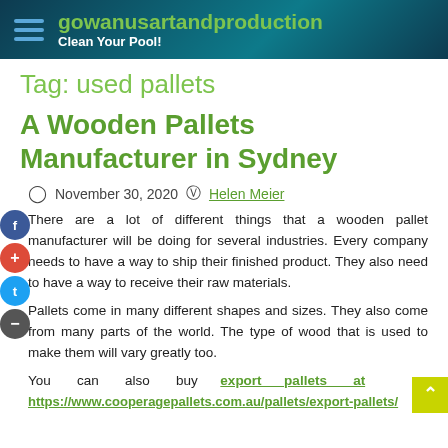gowanusartandproduction — Clean Your Pool!
Tag: used pallets
A Wooden Pallets Manufacturer in Sydney
November 30, 2020  Helen Meier
There are a lot of different things that a wooden pallet manufacturer will be doing for several industries. Every company needs to have a way to ship their finished product. They also need to have a way to receive their raw materials.
Pallets come in many different shapes and sizes. They also come from many parts of the world. The type of wood that is used to make them will vary greatly too.
You can also buy export pallets at https://www.cooperagepallets.com.au/pallets/export-pallets/